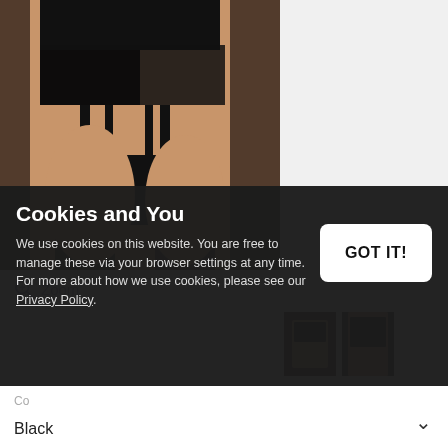[Figure (photo): Close-up product photo of a model wearing black lace garter belt/lingerie set against a brick wall background]
Zoom
[Figure (photo): Small thumbnail images of lingerie product]
Cookies and You
We use cookies on this website. You are free to manage these via your browser settings at any time. For more about how we use cookies, please see our Privacy Policy.
GOT IT!
Colour
Black